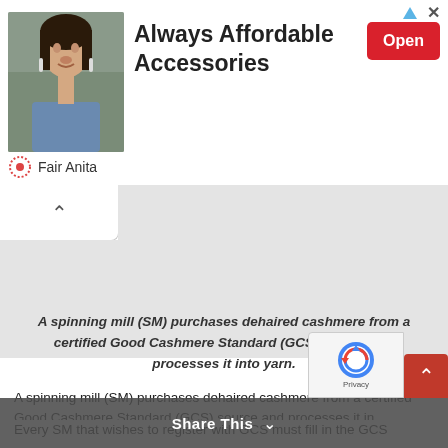[Figure (screenshot): Advertisement banner for Fair Anita showing a woman with earrings on the left, bold text 'Always Affordable Accessories' in the center, and a red 'Open' button on the right. Brand name 'Fair Anita' shown below photo.]
A spinning mill (SM) purchases dehaired cashmere from a certified Good Cashmere Standard (GCS) source and processes it into yarn.
A spinning mill (SM) purchases dehaired cashmere from a certified Good Cashmere Standard (GCS) source and processes it into yarn. Every SM that wishes to register with GCS must fill in the GCS...
Share This
Privacy